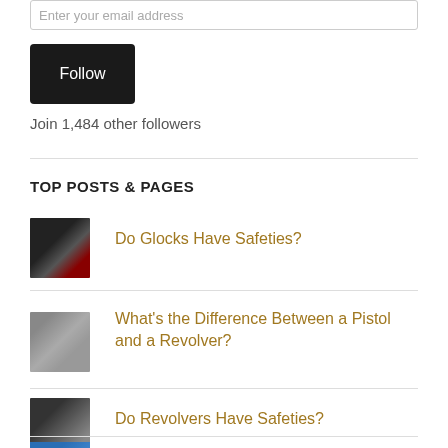Enter your email address
Follow
Join 1,484 other followers
TOP POSTS & PAGES
[Figure (photo): Thumbnail image of a Glock handgun]
Do Glocks Have Safeties?
[Figure (photo): Thumbnail image comparing a pistol and revolver on a surface]
What's the Difference Between a Pistol and a Revolver?
[Figure (photo): Thumbnail image of revolvers on a wooden surface]
Do Revolvers Have Safeties?
[Figure (photo): Thumbnail image partially visible at bottom of page]